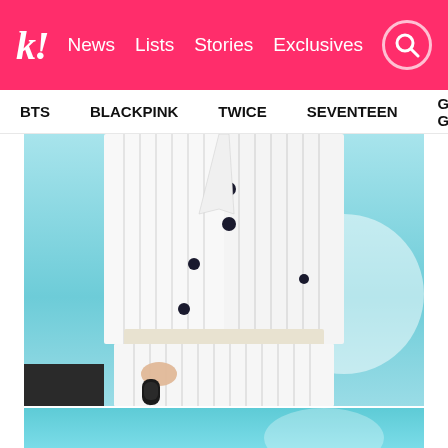k! News Lists Stories Exclusives
BTS BLACKPINK TWICE SEVENTEEN Girls' Generation
[Figure (photo): Person wearing white pinstripe suit (cropped jacket and high-waist trousers) holding a black microphone, performing on stage with blue/teal background]
[Figure (photo): Partial bottom image strip showing blue/teal stage background, partially visible]